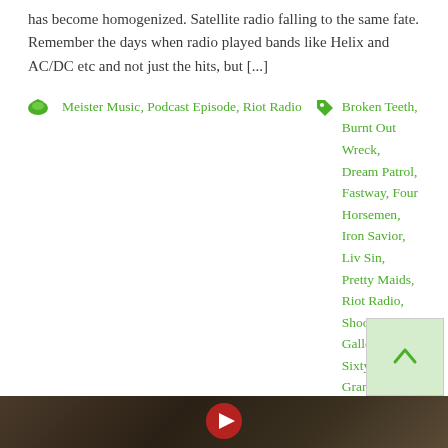has become homogenized. Satellite radio falling to the same fate. Remember the days when radio played bands like Helix and AC/DC etc and not just the hits, but [...]
Meister Music, Podcast Episode, Riot Radio  Broken Teeth, Burnt Out Wreck, Dream Patrol, Fastway, Four Horsemen, Iron Savior, Liv Sin, Pretty Maids, Riot Radio, Shooting Gallery, Sixty-Six Grand, Strawman, STUD, The Meister, Trouble
Read More
Friday, January 18, 2019 (D.J.T.O.)
January 18, 2019   Written by The Meister   Leave a Comment
[Figure (photo): Bottom image strip of a dark textured background]